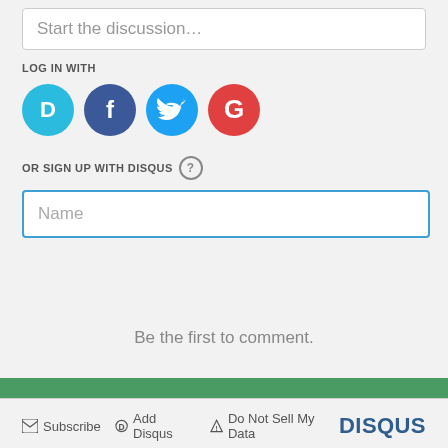Start the discussion…
LOG IN WITH
[Figure (other): Social login icons: Disqus (blue), Facebook (dark blue), Twitter (light blue), Google (red)]
OR SIGN UP WITH DISQUS ?
Name
Be the first to comment.
Subscribe  Add Disqus  Do Not Sell My Data  DISQUS
Partner with us